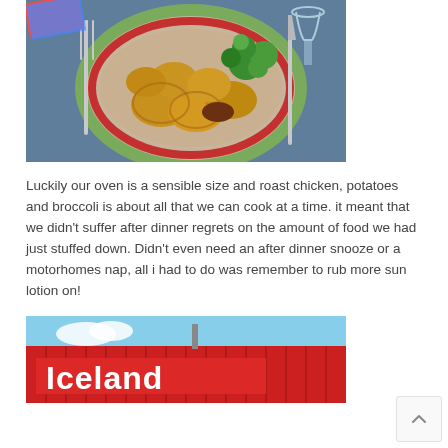[Figure (photo): A plate of roast potatoes and broccoli with cutlery on a blue table, seen from above. The plate has a decorative red and green border.]
Luckily our oven is a sensible size and roast chicken, potatoes and broccoli is about all that we can cook at a time. it meant that we didn't suffer after dinner regrets on the amount of food we had just stuffed down. Didn't even need an after dinner snooze or a motorhomes nap, all i had to do was remember to rub more sun lotion on!
[Figure (photo): Exterior of an Iceland supermarket store with a large red sign reading 'Iceland' in white letters against a blue sky.]